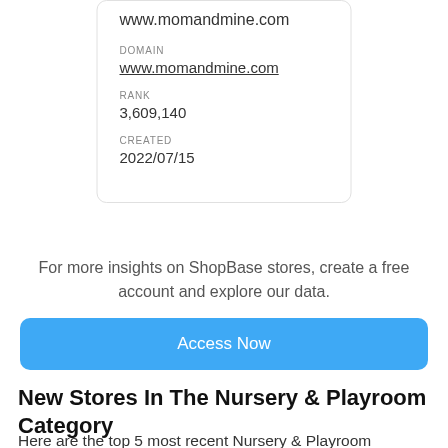www.momandmine.com
DOMAIN
www.momandmine.com
RANK
3,609,140
CREATED
2022/07/15
For more insights on ShopBase stores, create a free account and explore our data.
Access Now
New Stores In The Nursery & Playroom Category
Here are the top 5 most recent Nursery & Playroom